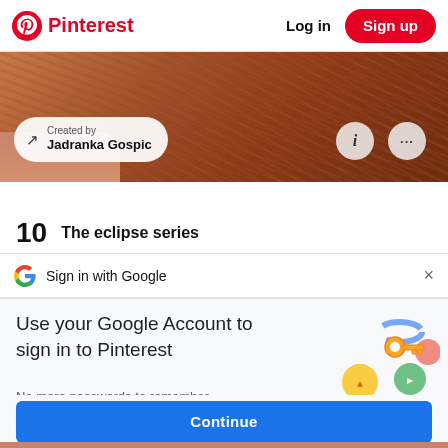Pinterest | Log in | Sign up
[Figure (screenshot): Pinterest board image showing a person with red hair, with a 'Created by Jadranka Gospic' overlay badge, and two circular icon buttons (info and more options)]
10   The eclipse series
[Figure (screenshot): Google Sign-in prompt bar showing Google 'G' logo and text 'Sign in with Google' with an X close button]
Use your Google Account to sign in to Pinterest
No more passwords to remember. Signing in is fast, simple and secure.
[Figure (illustration): Google account key illustration with colorful circles and a golden key icon]
Continue